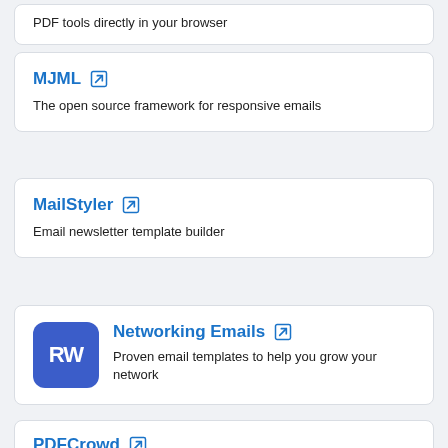PDF tools directly in your browser
MJML
The open source framework for responsive emails
MailStyler
Email newsletter template builder
Networking Emails
Proven email templates to help you grow your network
PDFCrowd